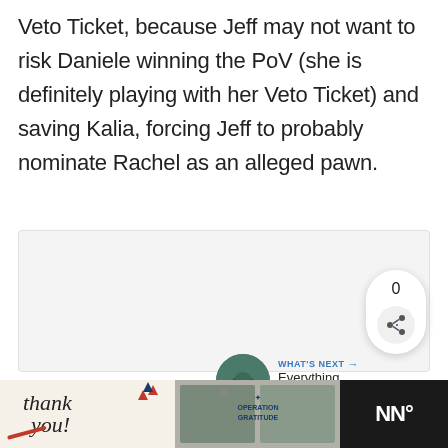Veto Ticket, because Jeff may not want to risk Daniele winning the PoV (she is definitely playing with her Veto Ticket) and saving Kalia, forcing Jeff to probably nominate Rachel as an alleged pawn.
[Figure (screenshot): Gray content placeholder box with share widget showing count 0 and share icon, and a 'What's Next' recommendation showing a thumbnail and text 'Everything You Need to...']
[Figure (photo): Advertisement banner at bottom: 'Thank you' handwritten text with pencil illustration on left, military personnel photos in center, Operation Gratitude logo on right, weather widget on far right on dark background]